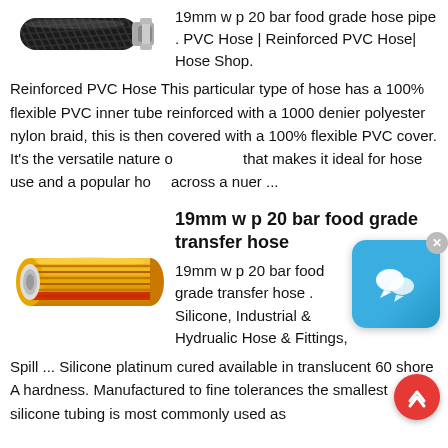[Figure (photo): Black braided reinforced PVC hose pipe shown horizontally]
19mm w p 20 bar food grade hose pipe . PVC Hose | Reinforced PVC Hose| Hose Shop.
Reinforced PVC Hose This particular type of hose has a 100% flexible PVC inner tube reinforced with a 1000 denier polyester nylon braid, this is then covered with a 100% flexible PVC cover. It's the versatile nature o... that makes it ideal for hose use and a popular ho... across a nuer ...
[Figure (photo): Cross-section view of a food grade transfer hose showing golden/orange braid with red and yellow outer layers]
19mm w p 20 bar food grade transfer hose
19mm w p 20 bar food grade transfer hose . Silicone, Industrial & Hydrualic Hose & Fittings, Spill ...
Silicone platinum cured available in translucent 60 shore A hardness. Manufactured to fine tolerances the smallest silicone tubing is most commonly used as